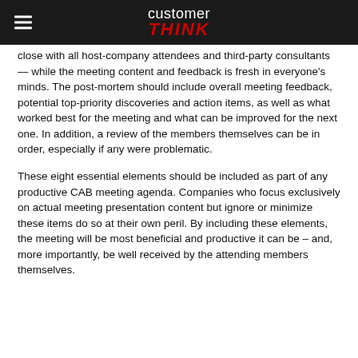customer THINK
close with all host-company attendees and third-party consultants — while the meeting content and feedback is fresh in everyone's minds. The post-mortem should include overall meeting feedback, potential top-priority discoveries and action items, as well as what worked best for the meeting and what can be improved for the next one. In addition, a review of the members themselves can be in order, especially if any were problematic.
These eight essential elements should be included as part of any productive CAB meeting agenda. Companies who focus exclusively on actual meeting presentation content but ignore or minimize these items do so at their own peril. By including these elements, the meeting will be most beneficial and productive it can be – and, more importantly, be well received by the attending members themselves.